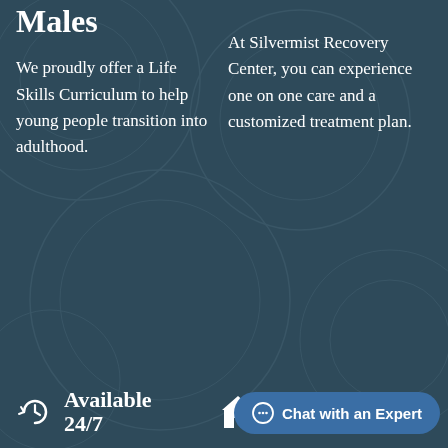Males
We proudly offer a Life Skills Curriculum to help young people transition into adulthood.
At Silvermist Recovery Center, you can experience one on one care and a customized treatment plan.
Available 24/7
[Figure (illustration): Home icon (house silhouette) in white]
[Figure (illustration): Chat button with speech bubble icon reading 'Chat with an Expert']